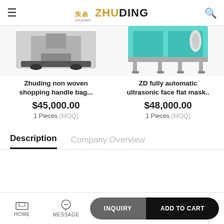ZHUDING
[Figure (photo): Zhuding non woven shopping handle bag machine image (top portion visible)]
[Figure (photo): ZD fully automatic ultrasonic face flat mask machine image (top portion visible, teal/turquoise colored machine)]
Zhuding non woven shopping handle bag...
$45,000.00
1 Pieces (MOQ)
ZD fully automatic ultrasonic face flat mask..
$48,000.00
1 Pieces (MOQ)
Description
Company Overview
HOME  MESSAGE  INQUIRY  ADD TO CART